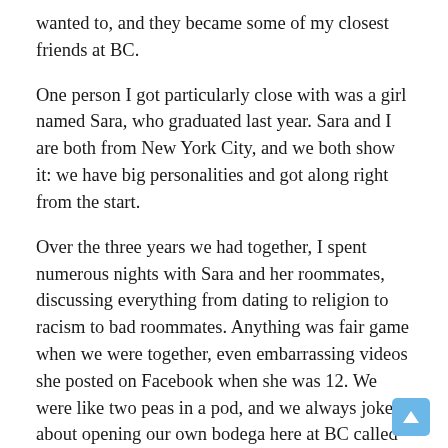wanted to, and they became some of my closest friends at BC.
One person I got particularly close with was a girl named Sara, who graduated last year. Sara and I are both from New York City, and we both show it: we have big personalities and got along right from the start.
Over the three years we had together, I spent numerous nights with Sara and her roommates, discussing everything from dating to religion to racism to bad roommates. Anything was fair game when we were together, even embarrassing videos she posted on Facebook when she was 12. We were like two peas in a pod, and we always joked about opening our own bodega here at BC called “E and E’s,” since both of our last names start with "e."
But, there came a time last year when I realized that I wouldn’t see Sara as often as I had the last few years. I would go out of my way to make sure I got to talk to her